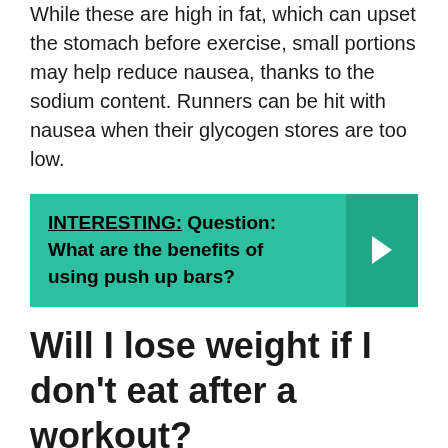While these are high in fat, which can upset the stomach before exercise, small portions may help reduce nausea, thanks to the sodium content. Runners can be hit with nausea when their glycogen stores are too low.
[Figure (infographic): Teal/green callout box with bold text reading 'INTERESTING: Question: What are the benefits of using push up bars?' and a right-pointing chevron arrow on a darker teal background on the right side.]
Will I lose weight if I don't eat after a workout?
Although exercising without eating first can increase your body's ability to use fat for fuel, this does not necessarily translate into